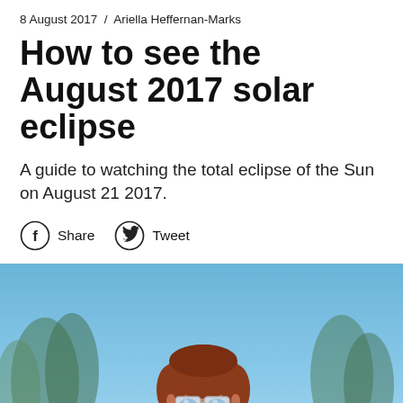8 August 2017  /  Ariella Heffernan-Marks
How to see the August 2017 solar eclipse
A guide to watching the total eclipse of the Sun on August 21 2017.
Share  Tweet
[Figure (photo): A child with red hair looks up at the sky through eclipse-viewing glasses, with blurred pine trees and blue sky in the background.]